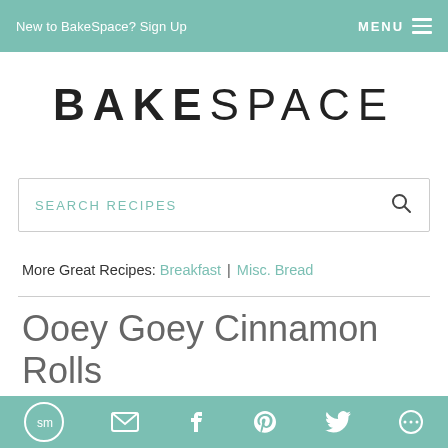New to BakeSpace? Sign Up   MENU
BAKESPACE
SEARCH RECIPES
More Great Recipes: Breakfast | Misc. Bread
Ooey Goey Cinnamon Rolls
SMS | Email | Facebook | Pinterest | Twitter | Other